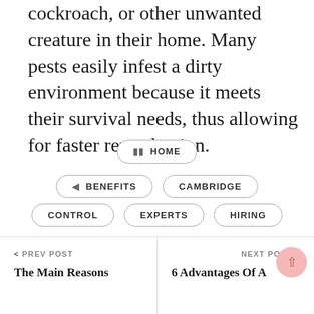cockroach, or other unwanted creature in their home. Many pests easily infest a dirty environment because it meets their survival needs, thus allowing for faster reproduction.
HOME
BENEFITS
CAMBRIDGE
CONTROL
EXPERTS
HIRING
< PREV POST
The Main Reasons
NEXT POST >
6 Advantages Of A